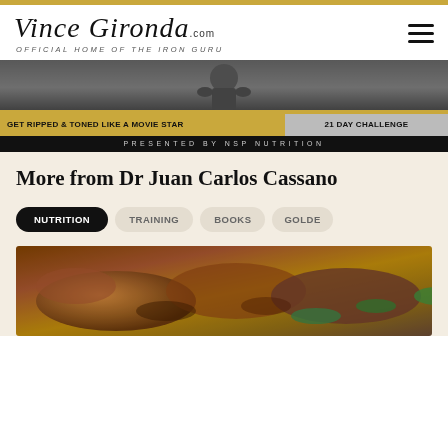[Figure (logo): Vince Gironda .com logo with tagline OFFICIAL HOME OF THE IRON GURU]
[Figure (photo): Banner image showing muscular figure with text GET RIPPED & TONED LIKE A MOVIE STAR | 21 DAY CHALLENGE - PRESENTED BY NSP NUTRITION]
More from Dr Juan Carlos Cassano
NUTRITION
TRAINING
BOOKS
GOLDEN
[Figure (photo): Food photo showing cooked meat dish]